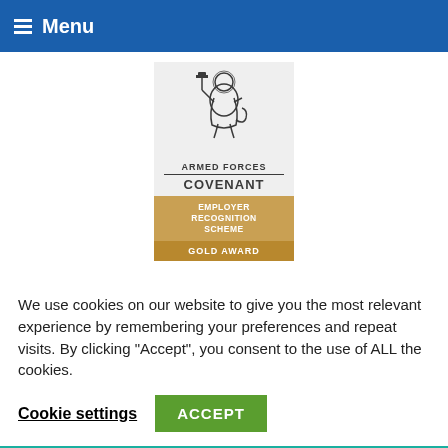Menu
[Figure (logo): Armed Forces Covenant Employer Recognition Scheme Gold Award badge with lion crest illustration]
[Figure (illustration): Blackpool skyline silhouette with Blackpool Tower, Ferris wheel, windmill on colourful wave banner in orange, green, and blue]
We use cookies on our website to give you the most relevant experience by remembering your preferences and repeat visits. By clicking “Accept”, you consent to the use of ALL the cookies.
Cookie settings
ACCEPT